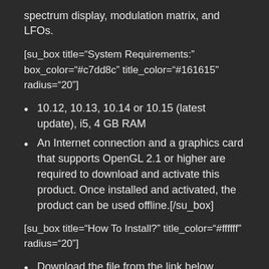spectrum display, modulation matrix, and LFOs.
[su_box title="System Requirements:" box_color="#c7dd8c" title_color="#161615" radius="20"]
10.12, 10.13, 10.14 or 10.15 (latest update), i5, 4 GB RAM
An Internet connection and a graphics card that supports OpenGL 2.1 or higher are required to download and activate this product. Once installed and activated, the product can be used offline.[/su_box]
[su_box title="How To Install?" title_color="#ffffff" radius="20"]
Download the file from the link below.
Extract the folder using a winner
Run the given setup